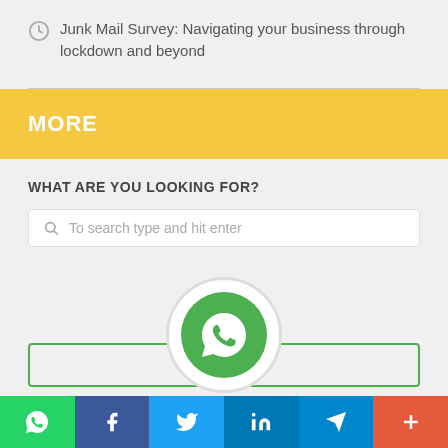Junk Mail Survey: Navigating your business through lockdown and beyond
MORE
WHAT ARE YOU LOOKING FOR?
To search type and hit enter
[Figure (logo): WhatsApp green circle logo icon]
[Figure (infographic): Social media share bar with WhatsApp, Facebook, Twitter, LinkedIn, Telegram, and More buttons]